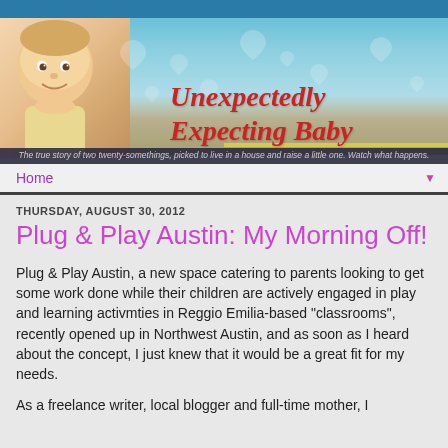[Figure (photo): Blog header banner with baby photo on the left, light blue sky with white heart bokeh decorations, road in background, and cursive red blog title 'Unexpectedly Expecting Baby']
The true story of two twenty-somethings, picked to live in a house and raise a little one. Watch what happens.
Home
THURSDAY, AUGUST 30, 2012
Plug & Play Austin: My Morning Off!
Plug & Play Austin, a new space catering to parents looking to get some work done while their children are actively engaged in play and learning activmties in Reggio Emilia-based "classrooms", recently opened up in Northwest Austin, and as soon as I heard about the concept, I just knew that it would be a great fit for my needs.
As a freelance writer, local blogger and full-time mother, I